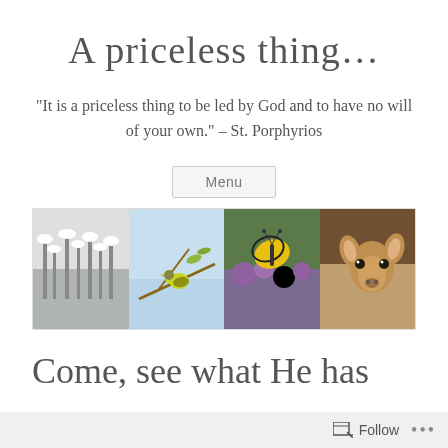A priceless thing…
"It is a priceless thing to be led by God and to have no will of your own." – St. Porphyrios
Menu
[Figure (photo): Four nature photos side by side: snow-covered flowers/plants, a small yellow bird on a branch, a tiger swallowtail butterfly on purple flowers, and a white-tailed deer looking at camera]
Come, see what He has
Follow ···